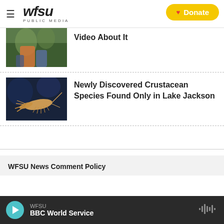WFSU PUBLIC MEDIA | Donate
[Figure (photo): Partially visible thumbnail of people in water/wetland setting, colorful clothing]
Video About It
[Figure (photo): Crustacean (shrimp-like creature) photographed against dark blue background]
Newly Discovered Crustacean Species Found Only in Lake Jackson
WFSU News Comment Policy
WFSU | BBC World Service